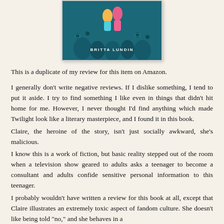[Figure (illustration): Book cover for a novel by Britta Lundin, showing illustrated figures on a teal/dark teal background with the author name 'BRITTA LUNDIN' in white capital letters.]
This is a duplicate of my review for this item on Amazon.
I generally don't write negative reviews. If I dislike something, I tend to put it aside. I try to find something I like even in things that didn't hit home for me. However, I never thought I'd find anything which made Twilight look like a literary masterpiece, and I found it in this book.
Claire, the heroine of the story, isn't just socially awkward, she's malicious.
I know this is a work of fiction, but basic reality stepped out of the room when a television show geared to adults asks a teenager to become a consultant and adults confide sensitive personal information to this teenager.
I probably wouldn't have written a review for this book at all, except that Claire illustrates an extremely toxic aspect of fandom culture. She doesn't like being told "no," and she behaves in a